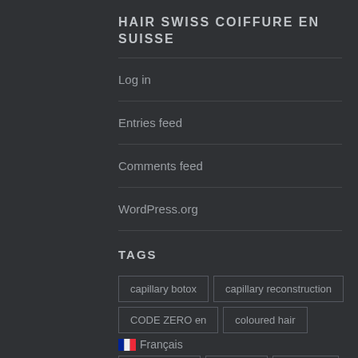HAIR SWISS COIFFURE EN SUISSE
Log in
Entries feed
Comments feed
WordPress.org
TAGS
capillary botox, capillary reconstruction, CODE ZERO en, coloured hair, Français, discoloration, furniture, hairspray, Deutsch